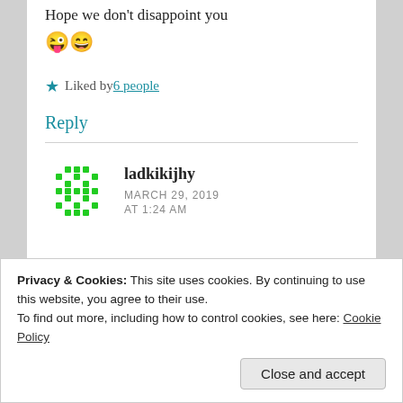Hope we don't disappoint you 😜😄
★ Liked by 6 people
Reply
ladkikijhy
MARCH 29, 2019
AT 1:24 AM
Privacy & Cookies: This site uses cookies. By continuing to use this website, you agree to their use. To find out more, including how to control cookies, see here: Cookie Policy
Close and accept